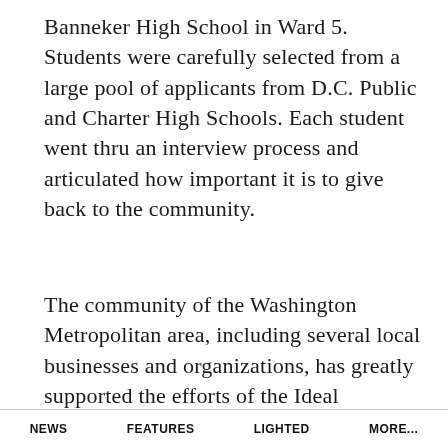Banneker High School in Ward 5. Students were carefully selected from a large pool of applicants from D.C. Public and Charter High Schools. Each student went thru an interview process and articulated how important it is to give back to the community.
The community of the Washington Metropolitan area, including several local businesses and organizations, has greatly supported the efforts of the Ideal Companies Scholarship Fund. The annual golf event was held at the...
NEWS   FEATURES   LIGHTED   MORE...